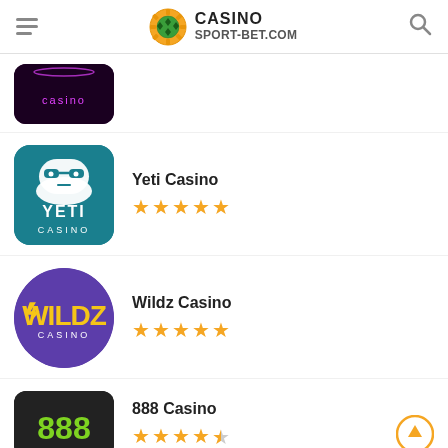CASINO SPORT-BET.COM
[Figure (screenshot): Partially visible casino app logo with purple/dark background and pink neon text 'casino']
[Figure (logo): Yeti Casino logo - teal/dark cyan square with white yeti face and text 'YETI CASINO']
Yeti Casino ★★★★★
[Figure (logo): Wildz Casino logo - purple circle with yellow lightning bolt and text 'WILDZ CASINO']
Wildz Casino ★★★★★
[Figure (logo): 888 Casino logo - dark/black square with green 888 symbols]
888 Casino ★★★★½